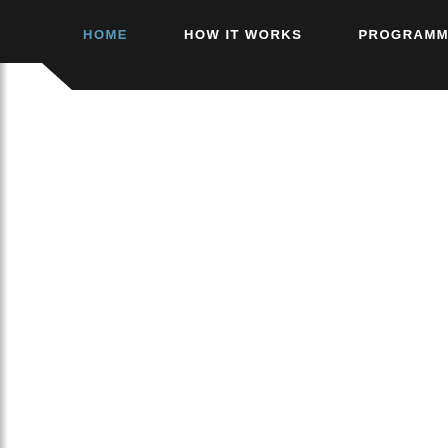HOME  HOW IT WORKS  PROGRAMME  LOCATIO